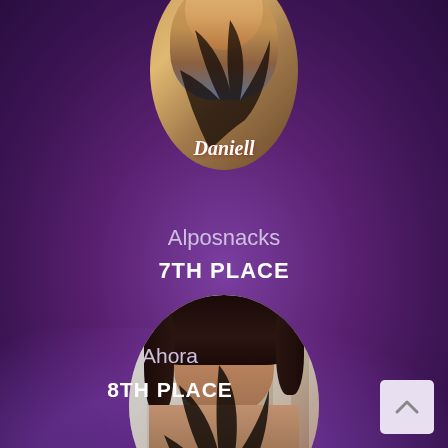[Figure (photo): Partial oval-framed photo of a woman named Danielle, cut off at top, with feather decoration overlay]
Danielle
Alposnacks
7TH PLACE
[Figure (photo): Oval-framed photo of a man named Joel with dark hair, shirtless, with feather decoration overlay]
Joel
Ahora
8TH PLACE